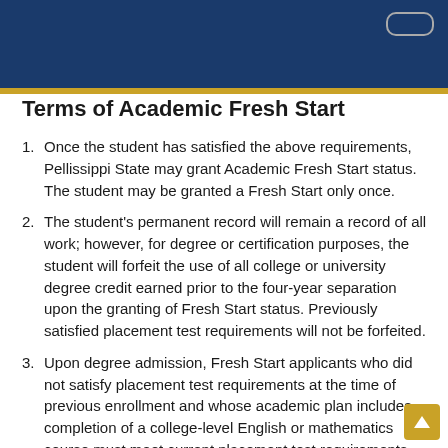Terms of Academic Fresh Start
Once the student has satisfied the above requirements, Pellissippi State may grant Academic Fresh Start status. The student may be granted a Fresh Start only once.
The student's permanent record will remain a record of all work; however, for degree or certification purposes, the student will forfeit the use of all college or university degree credit earned prior to the four-year separation upon the granting of Fresh Start status. Previously satisfied placement test requirements will not be forfeited.
Upon degree admission, Fresh Start applicants who did not satisfy placement test requirements at the time of previous enrollment and whose academic plan includes completion of a college-level English or mathematics course must meet current placement test requirements